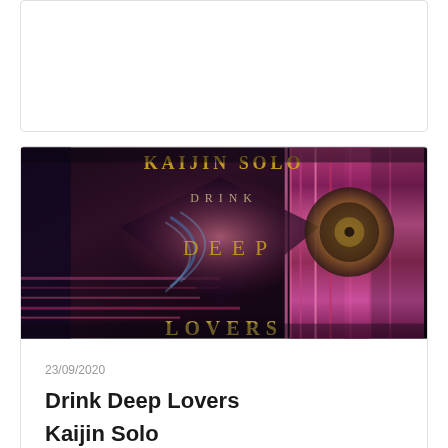[Figure (photo): Top card placeholder, empty white card with border]
[Figure (photo): Album cover art for 'Drink Deep Lovers' by Kaijin Solo. Dark psychedelic artwork with distorted mirror effects, pink and multicolored swirling patterns. Text reads 'KAIJIN SOLO' at top in gold, 'DRINK' in the upper center, 'DEEP' in the middle, and 'LOVERS' partially visible at bottom.]
23/09/2020
Drink Deep Lovers
Kaijin Solo